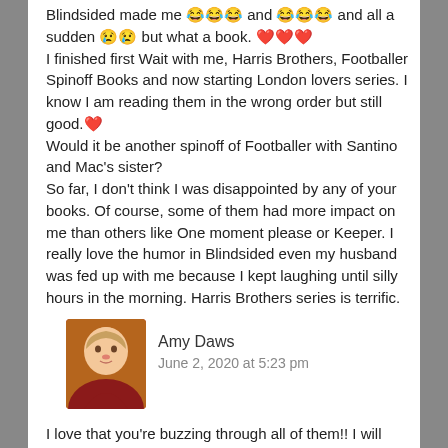Blindsided made me 😂😂😂 and 😂😂😂 and all a sudden 😢😢 but what a book. ❤️❤️❤️ I finished first Wait with me, Harris Brothers, Footballer Spinoff Books and now starting London lovers series. I know I am reading them in the wrong order but still good.❤️ Would it be another spinoff of Footballer with Santino and Mac's sister? So far, I don't think I was disappointed by any of your books. Of course, some of them had more impact on me than others like One moment please or Keeper. I really love the humor in Blindsided even my husband was fed up with me because I kept laughing until silly hours in the morning. Harris Brothers series is terrific.
Amy Daws
June 2, 2020 at 5:23 pm
I love that you're buzzing through all of them!! I will definitely be giving Santino and Tilly a book!